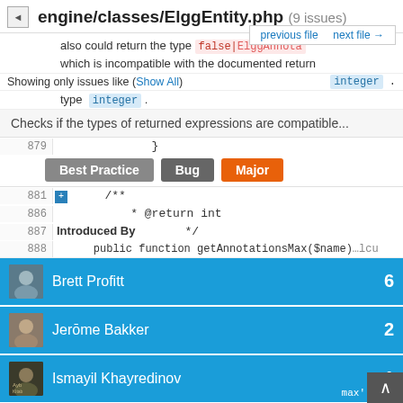engine/classes/ElggEntity.php (9 issues)
also could return the type false|ElggAnnota… which is incompatible with the documented return type integer .
Showing only issues like (Show All)
Checks if the types of returned expressions are compatible...
879  }
Best Practice  Bug  Major
881  }/*
886  * @return int
887  */   Introduced By
888  public function getAnnotationsMax($name)
Brett Profitt  6
Jerōme Bakker  2
Ismayil Khayredinov  1
also could return the type false|ElggAnnotation[]
h the documented return